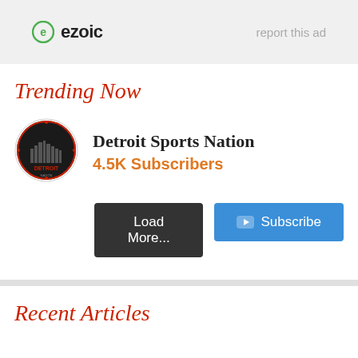[Figure (logo): Ezoic logo with green circle icon and 'ezoic' text, plus 'report this ad' text on right]
Trending Now
[Figure (logo): Detroit Sports Nation circular logo with city skyline]
Detroit Sports Nation
4.5K Subscribers
Load More...
Subscribe
Recent Articles